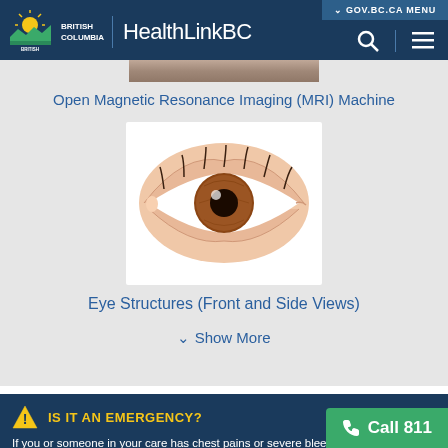GOV.BC.CA MENU | HealthLinkBC
Open Magnetic Resonance Imaging (MRI) Machine
[Figure (illustration): Medical illustration of an eye showing front view with iris, pupil, and eyelids in detail]
Eye Structures (Front and Side Views)
✓ Show More
IS IT AN EMERGENCY?
If you or someone in your care has chest pains or severe bleeding, it could be a life-threatening